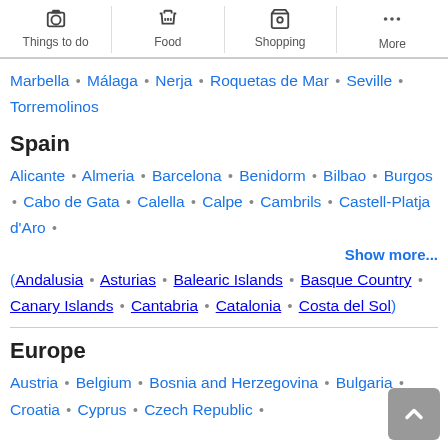Things to do | Food | Shopping | More
Marbella • Málaga • Nerja • Roquetas de Mar • Seville • Torremolinos
Spain
Alicante • Almeria • Barcelona • Benidorm • Bilbao • Burgos • Cabo de Gata • Calella • Calpe • Cambrils • Castell-Platja d'Aro •
Show more...
(Andalusia • Asturias • Balearic Islands • Basque Country • Canary Islands • Cantabria • Catalonia • Costa del Sol)
Europe
Austria • Belgium • Bosnia and Herzegovina • Bulgaria • Croatia • Cyprus • Czech Republic •